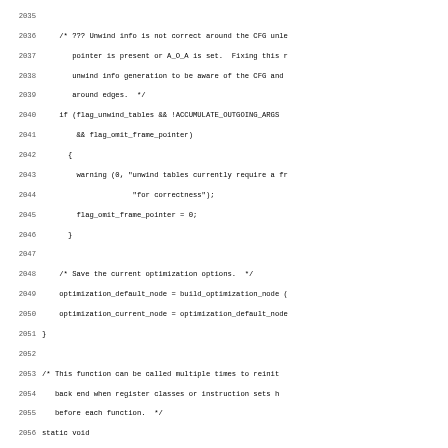Source code listing showing lines 2035-2066 of a C source file, containing function implementations for backend initialization including unwind info handling, optimization node setup, and backend_init_target function.